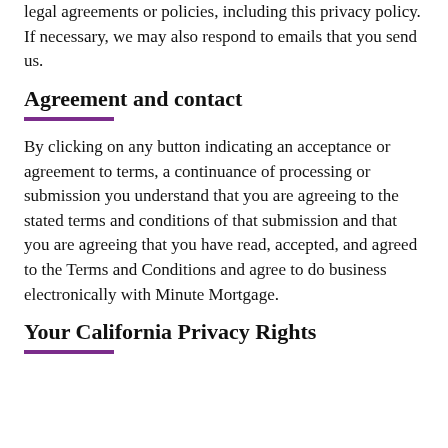legal agreements or policies, including this privacy policy. If necessary, we may also respond to emails that you send us.
Agreement and contact
By clicking on any button indicating an acceptance or agreement to terms, a continuance of processing or submission you understand that you are agreeing to the stated terms and conditions of that submission and that you are agreeing that you have read, accepted, and agreed to the Terms and Conditions and agree to do business electronically with Minute Mortgage.
Your California Privacy Rights